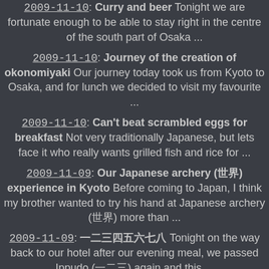2009-11-10: Curry and beer Tonight we are fortunate enough to be able to stay right in the centre of the south part of Osaka ...
2009-11-10: Journey of the creation of okonomiyaki Our journey today took us from Kyoto to Osaka, and for lunch we decided to visit my favourite ...
2009-11-10: Can't beat scrambled eggs for breakfast Not very traditionally Japanese, but lets face it who really wants grilled fish and rice for ...
2009-11-09: Our Japanese archery experience in Kyoto Before coming to Japan, I think my brother wanted to try his hand at Japanese archery more than ...
2009-11-09: [Japanese characters] Tonight on the way back to our hotel after our evening meal, we passed Ippudo again and this ...